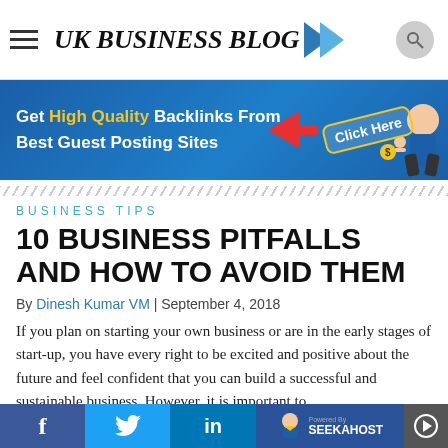UK BUSINESS BLOG
[Figure (infographic): Blue banner advertisement: Get High Quality Backlinks From Best Guest Posting Sites with Click Here button and cartoon illustration]
BUSINESS TIPS
10 BUSINESS PITFALLS AND HOW TO AVOID THEM
By Dinesh Kumar VM | September 4, 2018
If you plan on starting your own business or are in the early stages of start-up, you have every right to be excited and positive about the future and feel confident that you can build a successful and sustainable business. However, it is important to
f  (facebook)  |  (twitter)  |  in (linkedin)  |  SeekaHost  |  (arrow)